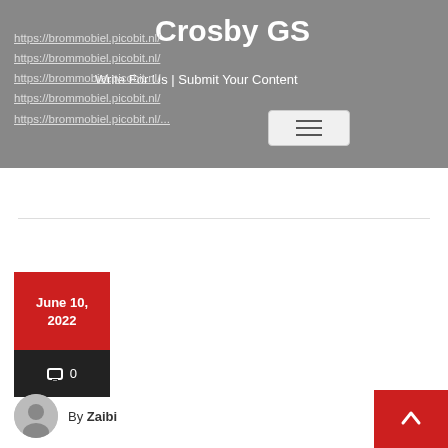Crosby GS — Write For Us | Submit Your Content
https://brommobiel.picobit.nl/
https://brommobiel.picobit.nl/
https://brommobiel.picobit.nl/
https://brommobiel.picobit.nl/
https://brommobiel.picobit.nl/...
June 10, 2022
0
By Zaibi